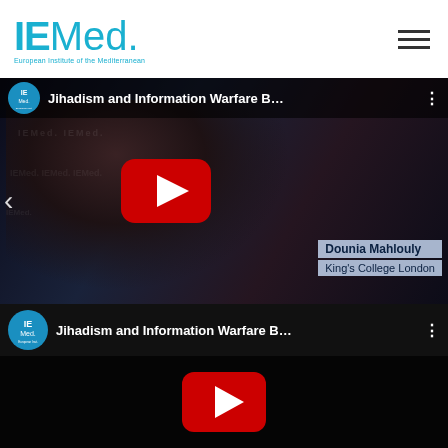[Figure (logo): IEMed European Institute of the Mediterranean logo in teal/blue color]
[Figure (screenshot): YouTube video screenshot: Jihadism and Information Warfare B... featuring Dounia Mahlouly from King's College London, with IEMed branding. Shows a woman in front of IEMed backdrop with a YouTube play button overlay.]
[Figure (screenshot): Second YouTube video thumbnail: Jihadism and Information Warfare B... with IEMed icon and YouTube play button on black background.]